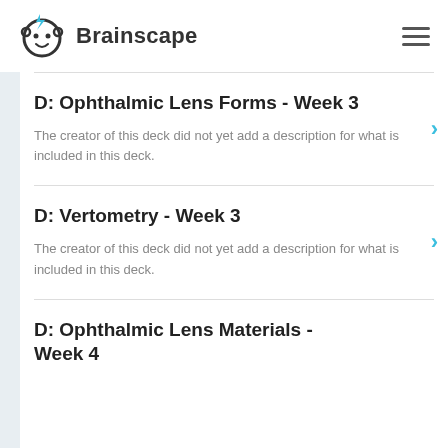Brainscape
D: Ophthalmic Lens Forms - Week 3
The creator of this deck did not yet add a description for what is included in this deck.
D: Vertometry - Week 3
The creator of this deck did not yet add a description for what is included in this deck.
D: Ophthalmic Lens Materials - Week 4